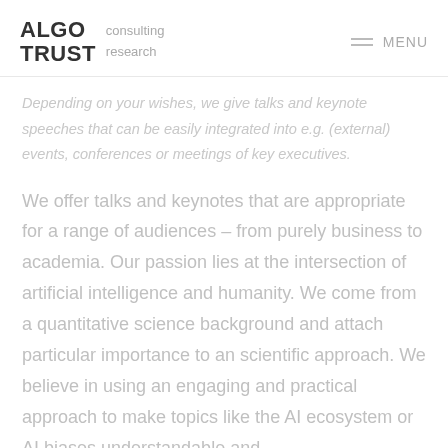ALGO TRUST  consulting  research  MENU
Depending on your wishes, we give talks and keynote speeches that can be easily integrated into e.g. (external) events, conferences or meetings of key executives.
We offer talks and keynotes that are appropriate for a range of audiences – from purely business to academia. Our passion lies at the intersection of artificial intelligence and humanity. We come from a quantitative science background and attach particular importance to an scientific approach. We believe in using an engaging and practical approach to make topics like the AI ecosystem or AI biases understandable and